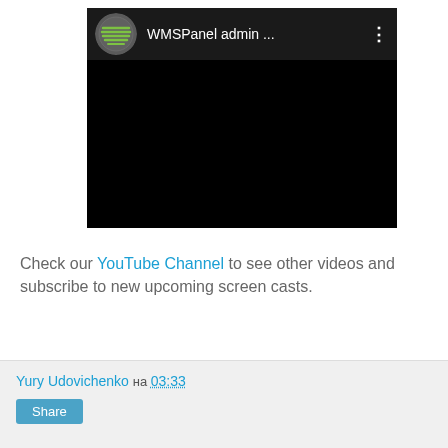[Figure (screenshot): Embedded video player with dark background showing WMSPanel admin channel logo (green-striped globe icon) and channel name 'WMSPanel admin ...' with three-dot menu icon. Video content area is black.]
Check our YouTube Channel to see other videos and subscribe to new upcoming screen casts.
Yury Udovichenko на 03:33 Share